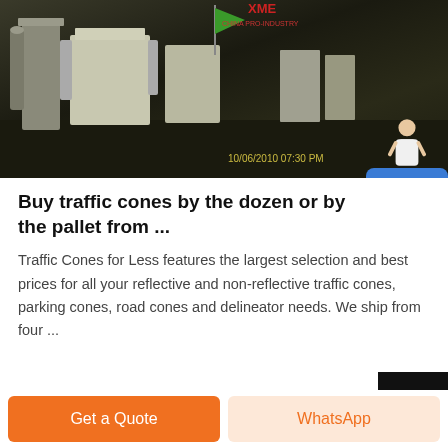[Figure (photo): Industrial machinery/equipment photo with dark background, showing factory/warehouse setting with white equipment structures and green flag visible. Timestamp '10/06/2010 07:30 PM' in yellow text at bottom right. Chat widget with female avatar and 'Free chat' blue button overlaid at right.]
Buy traffic cones by the dozen or by the pallet from ...
Traffic Cones for Less features the largest selection and best prices for all your reflective and non-reflective traffic cones, parking cones, road cones and delineator needs. We ship from four ...
Get a Quote
WhatsApp